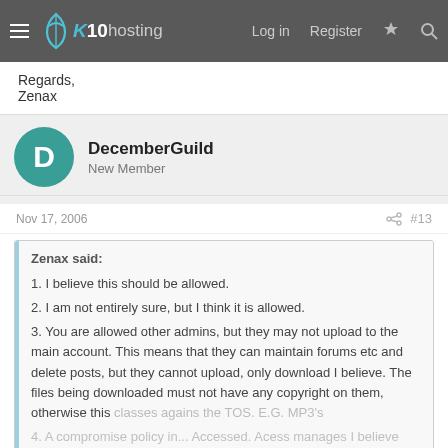x10hosting — Log in  Register
Regards,
Zenax
DecemberGuild
New Member
Nov 17, 2006   #13
Zenax said:
1. I believe this should be allowed.
2. I am not entirely sure, but I think it is allowed.
3. You are allowed other admins, but they may not upload to the main account. This means that they can maintain forums etc and delete posts, but they cannot upload, only download I believe. The files being downloaded must not have any copyright on them, otherwise this classes agains the TOS. E.G. MP3's
4. A compromise policy in... Click to expand...
Thanks,